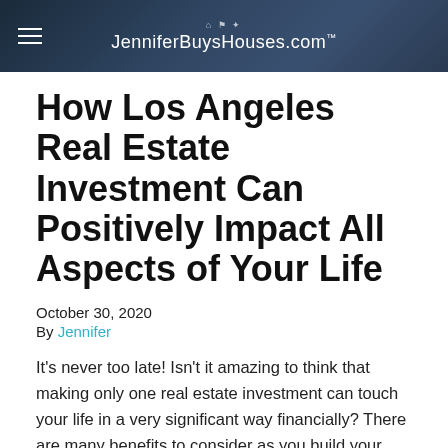JenniferBuysHouses.com™
How Los Angeles Real Estate Investment Can Positively Impact All Aspects of Your Life
October 30, 2020
By Jennifer
It's never too late! Isn't it amazing to think that making only one real estate investment can touch your life in a very significant way financially? There are many benefits to consider as you build your investment portfolio, wise investors know to diversify and real estate is a great